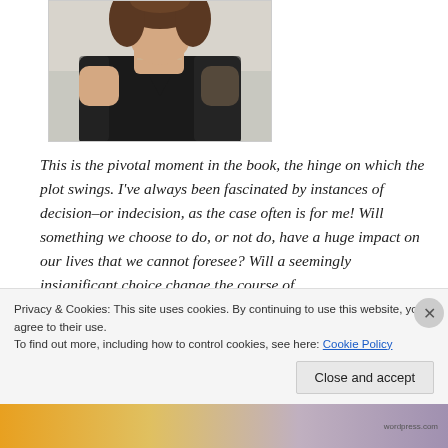[Figure (photo): Photo of a woman with curly hair wearing a black lace top and a delicate necklace]
This is the pivotal moment in the book, the hinge on which the plot swings. I've always been fascinated by instances of decision–or indecision, as the case often is for me! Will something we choose to do, or not do, have a huge impact on our lives that we cannot foresee? Will a seemingly insignificant choice change the course of
Privacy & Cookies: This site uses cookies. By continuing to use this website, you agree to their use.
To find out more, including how to control cookies, see here: Cookie Policy
Close and accept